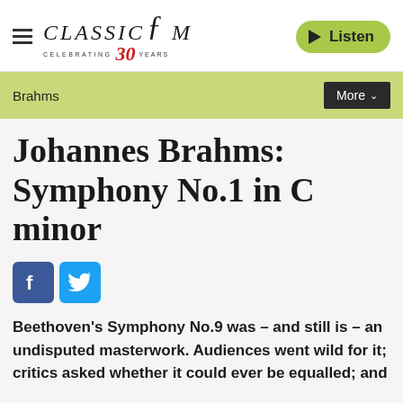CLASSIC FM — CELEBRATING 30 YEARS — Listen
Brahms
Johannes Brahms: Symphony No.1 in C minor
[Figure (infographic): Facebook and Twitter social share icons]
Beethoven's Symphony No.9 was – and still is – an undisputed masterwork. Audiences went wild for it; critics asked whether it could ever be equalled; and